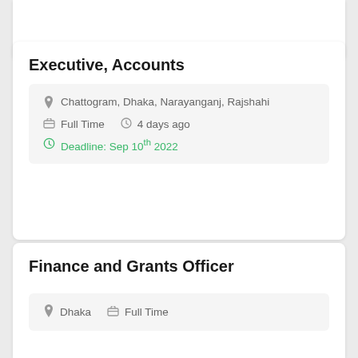Executive, Accounts
Chattogram, Dhaka, Narayanganj, Rajshahi  |  Full Time  |  4 days ago  |  Deadline: Sep 10th 2022
Finance and Grants Officer
Dhaka  |  Full Time